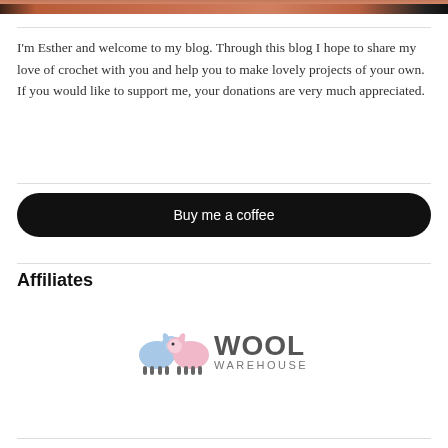[Figure (photo): Top cropped image showing person in orange/rust colored clothing]
I'm Esther and welcome to my blog. Through this blog I hope to share my love of crochet with you and help you to make lovely projects of your own. If you would like to support me, your donations are very much appreciated.
[Figure (other): Buy me a coffee button — black rounded rectangle button with white text]
Affiliates
[Figure (logo): Wool Warehouse logo — two cartoon sheep (blue and pink) next to the text WOOL WAREHOUSE in dark grey]